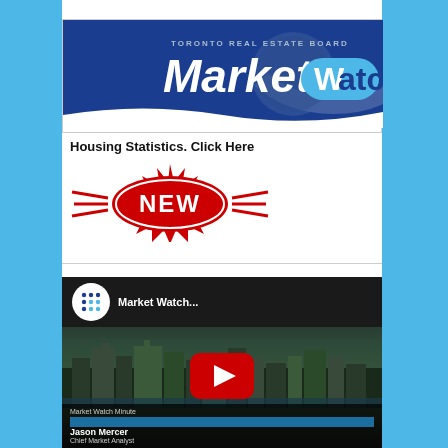[Figure (logo): Toronto Real Estate Board Market Watch banner logo with blue background and large white Market Watch text]
Housing Statistics. Click Here
[Figure (illustration): Red NEW badge/starburst graphic with white NEW text]
[Figure (screenshot): YouTube video thumbnail showing Market Watch video with city skyline background and YouTube play button, with Jason Mercer Chief Market Analyst lower third]